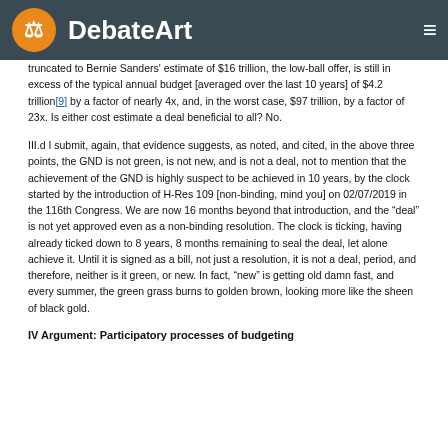DebateArt
truncated to Bernie Sanders' estimate of $16 trillion, the low-ball offer, is still in excess of the typical annual budget [averaged over the last 10 years] of $4.2 trillion[9] by a factor of nearly 4x, and, in the worst case, $97 trillion, by a factor of 23x. Is either cost estimate a deal beneficial to all? No.
III.d I submit, again, that evidence suggests, as noted, and cited, in the above three points, the GND is not green, is not new, and is not a deal, not to mention that the achievement of the GND is highly suspect to be achieved in 10 years, by the clock started by the introduction of H-Res 109 [non-binding, mind you] on 02/07/2019 in the 116th Congress. We are now 16 months beyond that introduction, and the “deal” is not yet approved even as a non-binding resolution. The clock is ticking, having already ticked down to 8 years, 8 months remaining to seal the deal, let alone achieve it. Until it is signed as a bill, not just a resolution, it is not a deal, period, and therefore, neither is it green, or new. In fact, “new” is getting old damn fast, and every summer, the green grass burns to golden brown, looking more like the sheen of black gold.
IV Argument: Participatory processes of budgeting